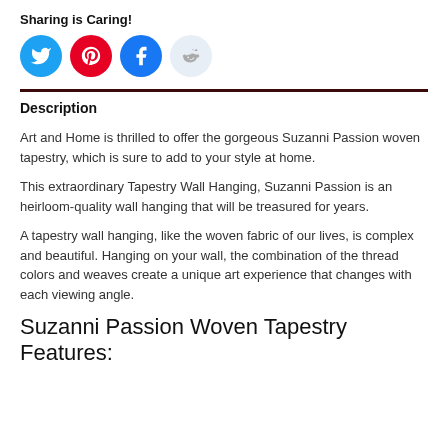Sharing is Caring!
[Figure (illustration): Four social media share buttons: Twitter (blue circle), Pinterest (red circle), Facebook (blue circle), Reddit (light blue circle)]
Description
Art and Home is thrilled to offer the gorgeous Suzanni Passion woven tapestry, which is sure to add to your style at home.
This extraordinary Tapestry Wall Hanging, Suzanni Passion is an heirloom-quality wall hanging that will be treasured for years.
A tapestry wall hanging, like the woven fabric of our lives, is complex and beautiful. Hanging on your wall, the combination of the thread colors and weaves create a unique art experience that changes with each viewing angle.
Suzanni Passion Woven Tapestry Features: